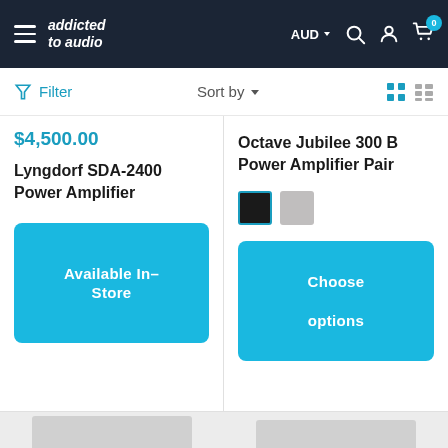addicted to audio — AUD — navigation header
Filter  Sort by
$4,500.00
Lyngdorf SDA-2400 Power Amplifier
Available In-Store
Octave Jubilee 300 B Power Amplifier Pair
Choose options